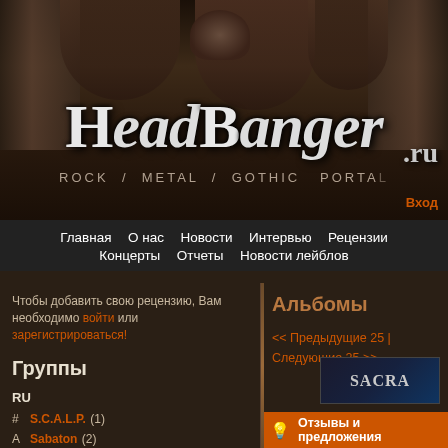[Figure (illustration): HeadBanger.ru website banner with dark gothic stone architecture background, featuring large stylized 'HEADBANGER' text logo and subtitle 'ROCK / METAL / GOTHIC PORTAL']
Главная  О нас  Новости  Интервью  Рецензии  Концерты  Отчеты  Новости лейблов
Чтобы добавить свою рецензию, Вам необходимо войти или зарегистрироваться!
Группы
RU
# S.C.A.L.P. (1)
A Sabaton (2)
B Sabhankra (2)
C Sabiendas (1)
D
Альбомы
<< Предыдущие 25 | Следующие 25 >>
[Figure (illustration): SACRA album cover thumbnail with dark blue background]
Отзывы и предложения